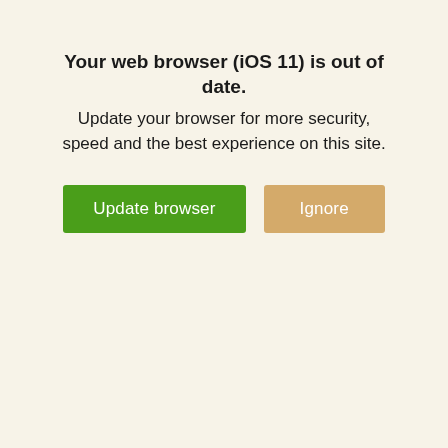Your web browser (iOS 11) is out of date.
Update your browser for more security, speed and the best experience on this site.
[Figure (screenshot): Two buttons side by side: a green 'Update browser' button and a tan/gold 'Ignore' button]
Add to Cart
You might also like: